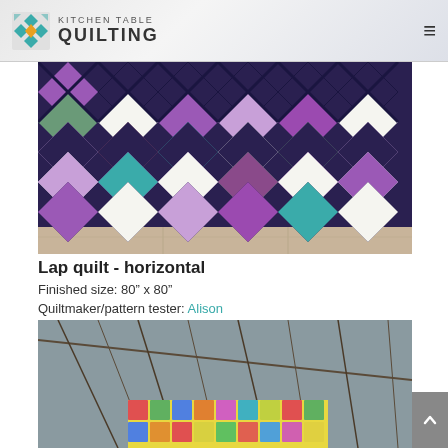Kitchen Table Quilting
[Figure (photo): Lap quilt laid out horizontally showing a diamond/argyle pattern in purple, teal, cream, and navy fabrics on a tile floor]
Lap quilt - horizontal
Finished size: 80" x 80"
Quiltmaker/pattern tester: Alison
[Figure (photo): Colorful patchwork quilt with bright squares in yellow, pink, blue, green displayed outdoors against bare winter trees]